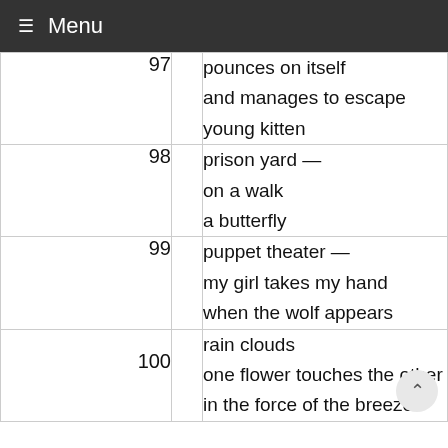≡ Menu
| # |  | Poem |
| --- | --- | --- |
| 97 |  | pounces on itself
and manages to escape
young kitten |
| 98 |  | prison yard —
on a walk
a butterfly |
| 99 |  | puppet theater —
my girl takes my hand
when the wolf appears |
| 100 |  | rain clouds
one flower touches the other
in the force of the breeze |